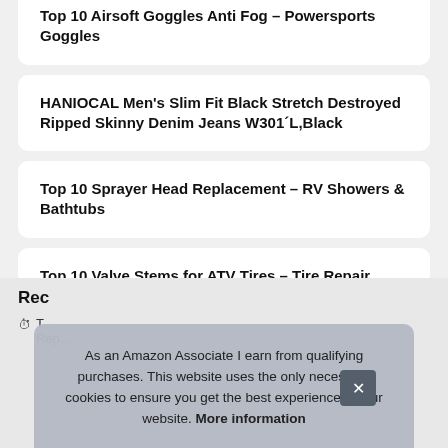Top 10 Airsoft Goggles Anti Fog – Powersports Goggles
HANIOCAL Men's Slim Fit Black Stretch Destroyed Ripped Skinny Denim Jeans W301´L,Black
Top 10 Sprayer Head Replacement – RV Showers & Bathtubs
Top 10 Valve Stems for ATV Tires – Tire Repair Tools
Rec
T... Rep...
As an Amazon Associate I earn from qualifying purchases. This website uses the only necessary cookies to ensure you get the best experience on our website. More information